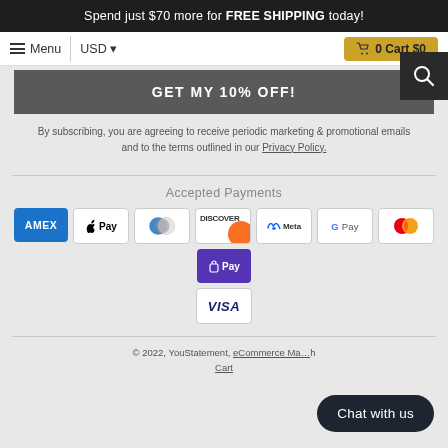Spend just $70 more for FREE SHIPPING today!
Menu | USD ▾    🛒 0 Cart $0
GET MY 10% OFF!
By subscribing, you are agreeing to receive periodic marketing & promotional emails and to the terms outlined in our Privacy Policy.
Accepted Payments
[Figure (infographic): Payment method icons: American Express, Apple Pay, Diners Club, Discover, Meta Pay, Google Pay, Mastercard, Shop Pay, Visa]
© 2022, YouStatement, eCommerce Ma… Cart